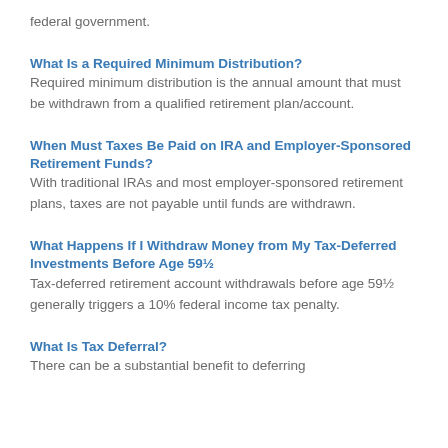federal government.
What Is a Required Minimum Distribution?
Required minimum distribution is the annual amount that must be withdrawn from a qualified retirement plan/account.
When Must Taxes Be Paid on IRA and Employer-Sponsored Retirement Funds?
With traditional IRAs and most employer-sponsored retirement plans, taxes are not payable until funds are withdrawn.
What Happens If I Withdraw Money from My Tax-Deferred Investments Before Age 59½
Tax-deferred retirement account withdrawals before age 59½ generally triggers a 10% federal income tax penalty.
What Is Tax Deferral?
There can be a substantial benefit to deferring